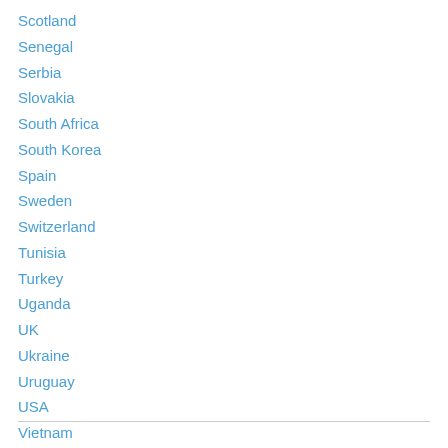Scotland
Senegal
Serbia
Slovakia
South Africa
South Korea
Spain
Sweden
Switzerland
Tunisia
Turkey
Uganda
UK
Ukraine
Uruguay
USA
Vietnam
Wales